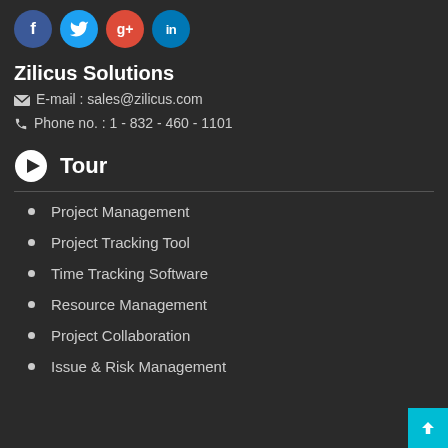[Figure (illustration): Social media icon buttons: Facebook (blue circle with f), Twitter (blue circle with bird), Google+ (red circle with g+), LinkedIn (blue circle with in)]
Zilicus Solutions
E-mail : sales@zilicus.com
Phone no. : 1 - 832 - 460 - 1101
Tour
Project Management
Project Tracking Tool
Time Tracking Software
Resource Management
Project Collaboration
Issue & Risk Management